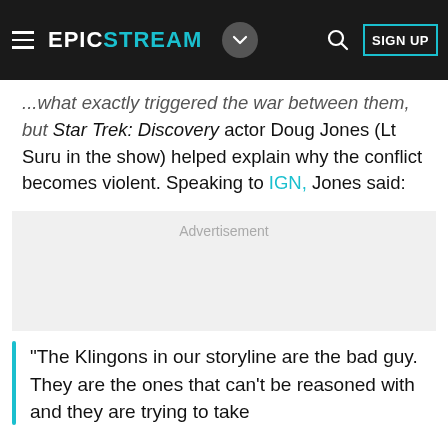EPICSTREAM
...but Star Trek: Discovery actor Doug Jones (Lt Suru in the show) helped explain why the conflict becomes violent. Speaking to IGN, Jones said:
[Figure (other): Advertisement placeholder box]
"The Klingons in our storyline are the bad guy. They are the ones that can't be reasoned with and they are trying to take